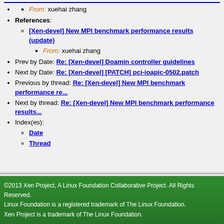From: xuehai zhang
References:
[Xen-devel] New MPI benchmark performance results (update)
From: xuehai zhang
Prev by Date: Re: [Xen-devel] Doamin controller guidelines
Next by Date: Re: [Xen-devel] [PATCH] pci-ioapic-0502.patch
Previous by thread: Re: [Xen-devel] New MPI benchmark performance re...
Next by thread: Re: [Xen-devel] New MPI benchmark performance results...
Index(es):
Date
Thread
©2013 Xen Project, A Linux Foundation Collaborative Project. All Rights Reserved. Linux Foundation is a registered trademark of The Linux Foundation. Xen Project is a trademark of The Linux Foundation.
Lists.xenproject.org is hosted with RackSpace, monitoring our servers 24x7x365 and backed by RackSpace's Fanatical Support®.